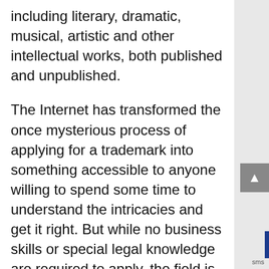including literary, dramatic, musical, artistic and other intellectual works, both published and unpublished.
The Internet has transformed the once mysterious process of applying for a trademark into something accessible to anyone willing to spend some time to understand the intricacies and get it right. But while no business skills or special legal knowledge are required to apply, the field is filled with potential pitfalls and wrong turns that could sabotage your trademark filing if you don't know the intricacies of creating trademarks that can stand up to legal challenges later on.
For example, the application requires that you